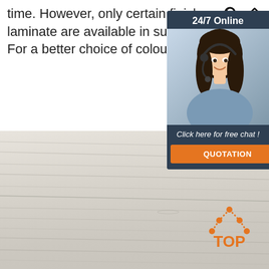Search | Home
time. However, only certain finishes of veneer or laminate are available in such pre-finished ply boards. For a better choice of colours and finishes, ...
Get Price
[Figure (infographic): 24/7 Online customer service widget with photo of woman with headset, 'Click here for free chat!' text, and QUOTATION button]
[Figure (photo): Close-up photo of light-colored wood grain / bamboo ply board surface with subtle linear grain pattern]
[Figure (logo): TOP logo with orange house/triangle icon made of dots and orange TOP text]